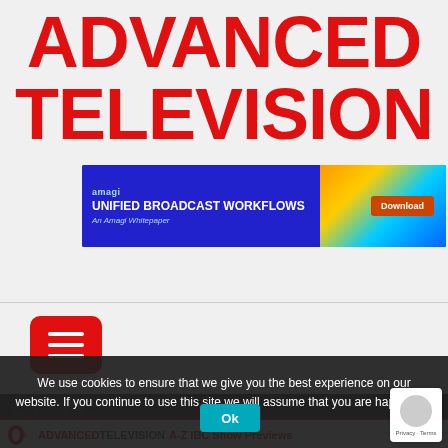ADVANCED TELEVISION
[Figure (infographic): Amagi advertisement banner: 'UNIFIED BROADCAST WORKFLOWS - An Amagi Whitepaper' with Download button, blue background with city/traffic light photo on right]
[Figure (infographic): Red hamburger menu button with three white horizontal lines]
SCTE
We use cookies to ensure that we give you the best experience on our website. If you continue to use this site we will assume that you are happy with it.
[Figure (infographic): Advanced Television A-Z IBC Show Previews banner with IBC logo and Advanced Television logo, plus reCAPTCHA badge and Ok button overlay]